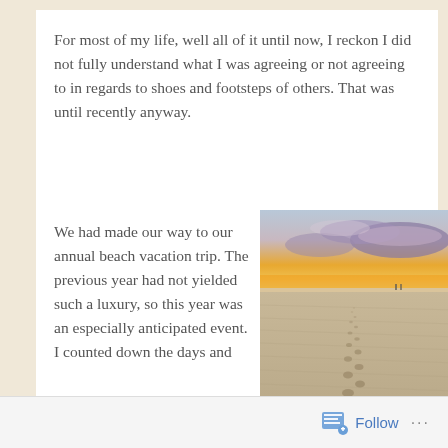For most of my life, well all of it until now, I reckon I did not fully understand what I was agreeing or not agreeing to in regards to shoes and footsteps of others. That was until recently anyway.
We had made our way to our annual beach vacation trip. The previous year had not yielded such a luxury, so this year was an especially anticipated event. I counted down the days and
[Figure (photo): Beach sunset photo showing footprints in rippled sand leading toward the ocean horizon, with a dramatic sky of orange, yellow, and purple clouds. Two small silhouetted figures are visible near the water.]
Follow ···